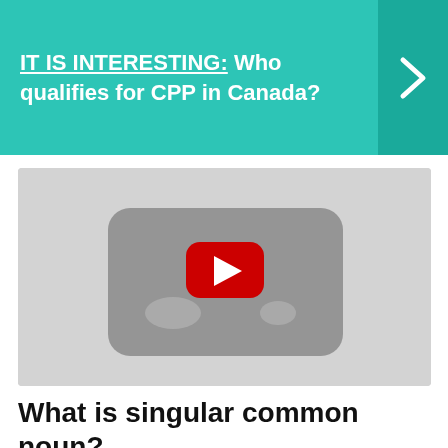IT IS INTERESTING: Who qualifies for CPP in Canada?
[Figure (screenshot): YouTube video player thumbnail showing a grey background with a YouTube play button (red rounded rectangle with white play triangle) in the center]
What is singular common noun?
Singular. common noun. Plural. common nouns. A common noun is any noun that